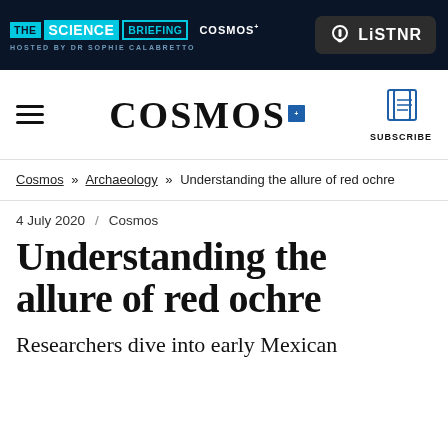[Figure (logo): The Science Briefing banner with COSMOS and LiSTNR logos on dark background]
[Figure (logo): Cosmos Plus magazine logo with navigation hamburger menu and Subscribe button with book icon]
Cosmos » Archaeology » Understanding the allure of red ochre
4 July 2020 / Cosmos
Understanding the allure of red ochre
Researchers dive into early Mexican